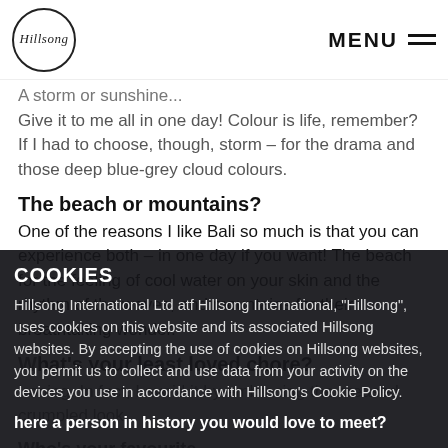Hillsong | MENU
Give it to me all in one day! Colour is life, remember? If I had to choose, though, storm – for the drama and those deep blue-grey cloud colours.
The beach or mountains?
One of the reasons I like Bali so much is that you can experience both – in one day if you want! The beach for the feeling of cool water on your skin and the rhythm of the waves, and mountains for their breathtaking wonder.
What's your least loved chore?
Ironing. In fact, I avoid it by embracing the creased, crumpled look.
Who's your favourite...
W... in the s... s...
If you could name a person in history you would love to meet?
COOKIES
Hillsong International Ltd atf Hillsong International, "Hillsong", uses cookies on this website and its associated Hillsong websites. By accepting the use of cookies on Hillsong websites, you permit us to collect and use data from your activity on the devices you use in accordance with Hillsong's Cookie Policy.